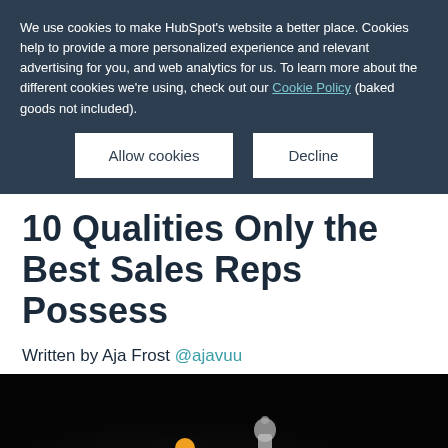We use cookies to make HubSpot's website a better place. Cookies help to provide a more personalized experience and relevant advertising for you, and web analytics for us. To learn more about the different cookies we're using, check out our Cookie Policy (baked goods not included).
Allow cookies | Decline
10 Qualities Only the Best Sales Reps Possess
Written by Aja Frost @ajavuu
[Figure (photo): Dark background photo with a small orange chess pawn piece and a white chess piece (bishop or queen) partially visible. A light-colored ad overlay box appears at the bottom of the image with a close (X) button.]